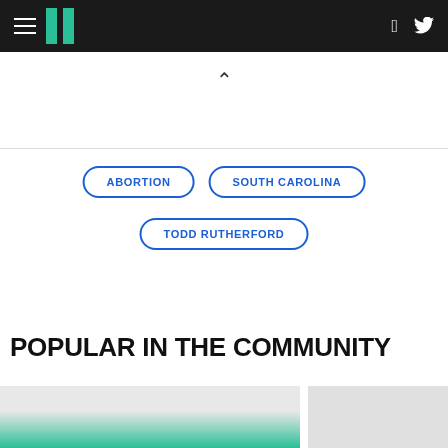HuffPost navigation bar with hamburger menu, logo, Facebook and Twitter icons
^
ABORTION
SOUTH CAROLINA
TODD RUTHERFORD
VIEW COMMENTS
POPULAR IN THE COMMUNITY
[Figure (photo): Two partially visible article thumbnail images at bottom of page]